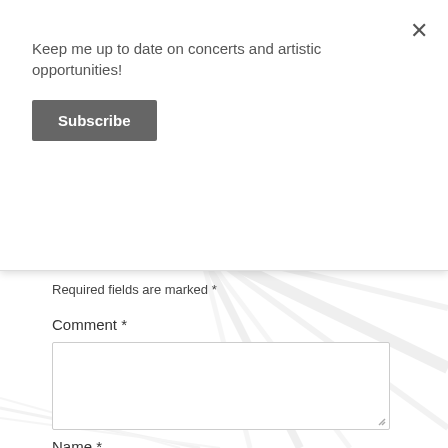Keep me up to date on concerts and artistic opportunities!
Subscribe
Required fields are marked *
Comment *
Name *